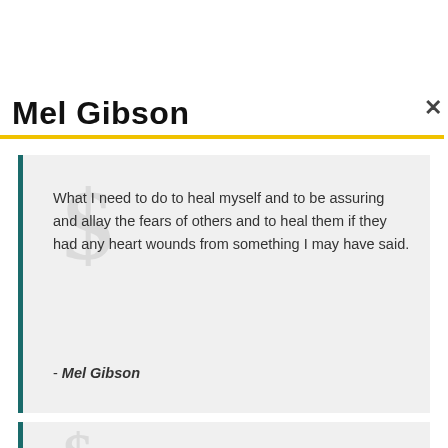Mel Gibson
What I need to do to heal myself and to be assuring and allay the fears of others and to heal them if they had any heart wounds from something I may have said.
- Mel Gibson